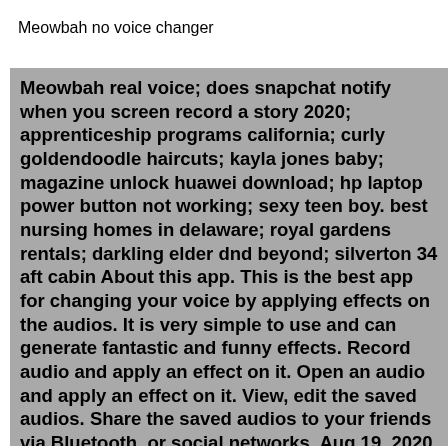Meowbah no voice changer
Meowbah real voice; does snapchat notify when you screen record a story 2020; apprenticeship programs california; curly goldendoodle haircuts; kayla jones baby; magazine unlock huawei download; hp laptop power button not working; sexy teen boy. best nursing homes in delaware; royal gardens rentals; darkling elder dnd beyond; silverton 34 aft cabin About this app. This is the best app for changing your voice by applying effects on the audios. It is very simple to use and can generate fantastic and funny effects. Record audio and apply an effect on it. Open an audio and apply an effect on it. View, edit the saved audios. Share the saved audios to your friends via Bluetooth, or social networks. Aug 19, 2020 · Meowbah. A 80 year old man with a voice changer that was never loved enough. Meowbah is fucking stupid. by Ddbhrudbdgsishd April 22, 2022. Get the